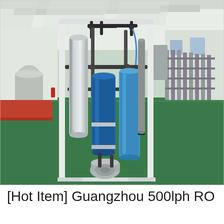[Figure (photo): Photograph of a Guangzhou 500lph RO (reverse osmosis) water purification system unit inside an industrial factory. The unit is a white metal frame cabinet containing blue cylindrical filter vessels, stainless steel pipes, black PVC piping, a pump, and blue tubing. The factory floor is green-painted concrete with a high white ceiling with support beams. Additional water treatment equipment is visible in the background on the right side.]
[Hot Item] Guangzhou 500lph RO